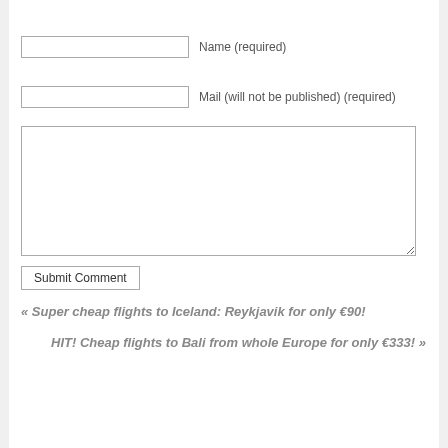Name (required)
Mail (will not be published) (required)
Submit Comment
« Super cheap flights to Iceland: Reykjavik for only €90!
HIT! Cheap flights to Bali from whole Europe for only €333! »